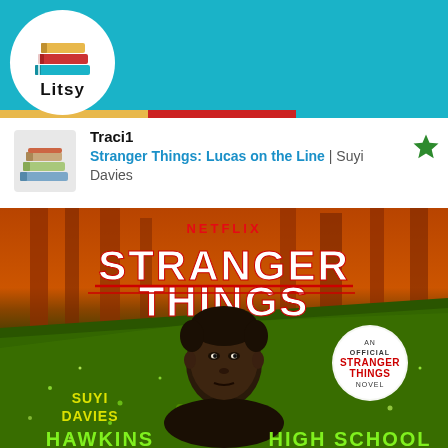[Figure (screenshot): Litsy app top navigation bar with teal background, Litsy logo (colorful stacked books) in white circle on left, and home, search, plus, lightning, and profile icons in white]
Traci1
Stranger Things: Lucas on the Line | Suyi Davies
[Figure (photo): Book cover of 'Stranger Things: Lucas on the Line' by Suyi Davies. Shows NETFLIX branding at top, large STRANGER THINGS logo in white retro letters, a young Black man's face centered, orange forest background upper half, green glittery lower half, text 'SUYI DAVIES', 'HAWKINS HIGH SCHOOL', and a badge reading 'AN OFFICIAL STRANGER THINGS NOVEL']